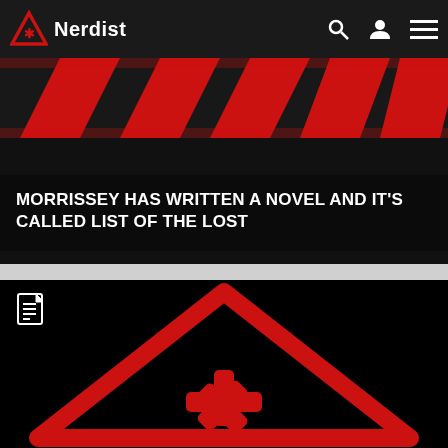Nerdist
[Figure (screenshot): Nerdist website navigation bar with red triangle logo, 'Nerdist' text, search icon, user icon, and hamburger menu icon on dark background]
MORRISSEY HAS WRITTEN A NOVEL AND IT'S CALLED LIST OF THE LOST
[Figure (illustration): Red warning triangle symbol with asterisk/snowflake icon inside, on black background. Document/article icon in top-left corner.]